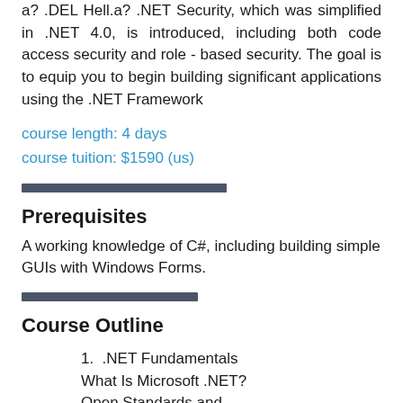a? .DEL Hell.a? .NET Security, which was simplified in .NET 4.0, is introduced, including both code access security and role - based security. The goal is to equip you to begin building significant applications using the .NET Framework
course length: 4 days
course tuition: $1590 (us)
Prerequisites
A working knowledge of C#, including building simple GUIs with Windows Forms.
Course Outline
1.  .NET Fundamentals
What Is Microsoft .NET?
Open Standards and